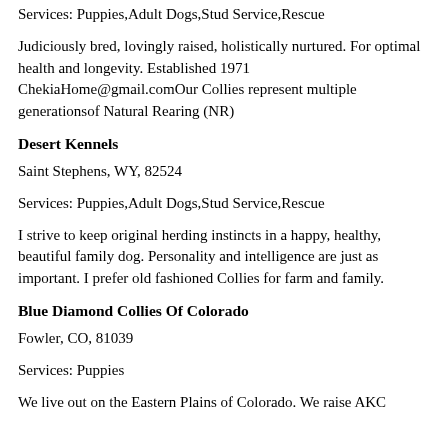Services: Puppies,Adult Dogs,Stud Service,Rescue
Judiciously bred, lovingly raised, holistically nurtured. For optimal health and longevity. Established 1971 ChekiaHome@gmail.comOur Collies represent multiple generationsof Natural Rearing (NR)
Desert Kennels
Saint Stephens, WY, 82524
Services: Puppies,Adult Dogs,Stud Service,Rescue
I strive to keep original herding instincts in a happy, healthy, beautiful family dog. Personality and intelligence are just as important. I prefer old fashioned Collies for farm and family.
Blue Diamond Collies Of Colorado
Fowler, CO, 81039
Services: Puppies
We live out on the Eastern Plains of Colorado. We raise AKC